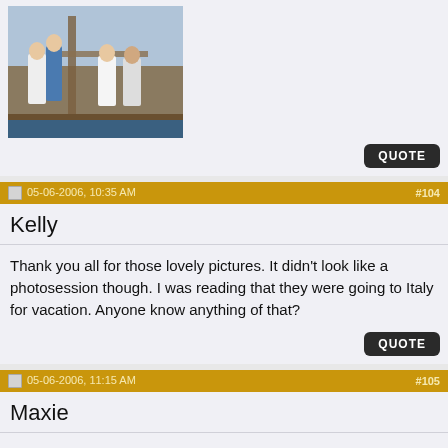[Figure (photo): People on a wooden sailing boat/deck, several figures visible, outdoor daylight]
QUOTE
05-06-2006, 10:35 AM   #104
Kelly
Thank you all for those lovely pictures. It didn't look like a photosession though. I was reading that they were going to Italy for vacation. Anyone know anything of that?
QUOTE
05-06-2006, 11:15 AM   #105
Maxie
And a pic from www.koninklijkhuis.nl, originally by royal images. :)